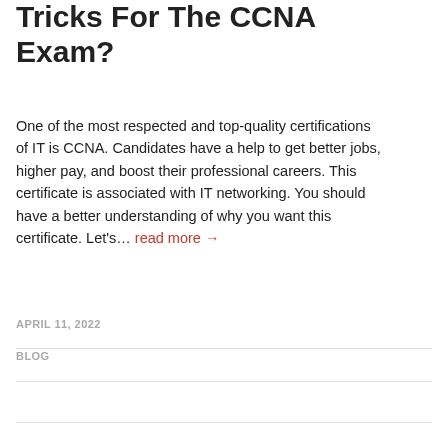Tricks For The CCNA Exam?
One of the most respected and top-quality certifications of IT is CCNA. Candidates have a help to get better jobs, higher pay, and boost their professional careers. This certificate is associated with IT networking. You should have a better understanding of why you want this certificate. Let's... read more →
APRIL 11, 2022
BLOG